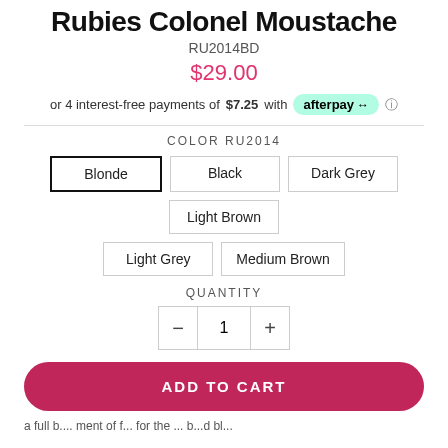Rubies Colonel Moustache
RU2014BD
$29.00
or 4 interest-free payments of $7.25 with afterpay
COLOR RU2014
Blonde
Black
Dark Grey
Light Brown
Light Grey
Medium Brown
QUANTITY
1
ADD TO CART